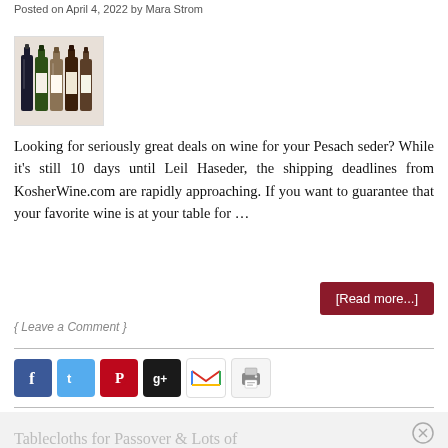Posted on April 4, 2022 by Mara Strom
[Figure (photo): Multiple wine bottles standing together, including red and white wines with various labels]
Looking for seriously great deals on wine for your Pesach seder? While it's still 10 days until Leil Haseder, the shipping deadlines from KosherWine.com are rapidly approaching. If you want to guarantee that your favorite wine is at your table for …
[Read more...]
{ Leave a Comment }
[Figure (infographic): Social sharing icons: Facebook, Twitter, Pinterest, Google+, Gmail, Print]
Tablecloths for Passover & Lots of